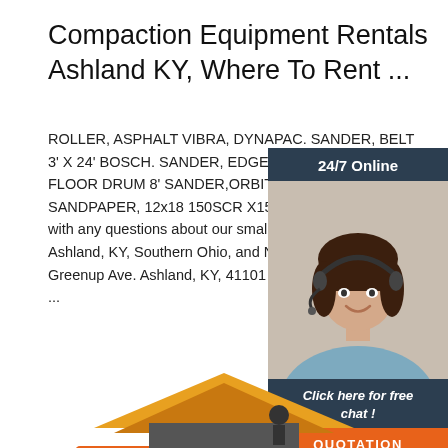Compaction Equipment Rentals Ashland KY, Where To Rent ...
ROLLER, ASPHALT VIBRA, DYNAPAC. SANDER, BELT 3' X 24' BOSCH. SANDER, EDGER FLOOR 7' FLOOR DRUM 8' SANDER,ORBITAL FLOOR SANDPAPER, 12x18 150SCR X1591D ... * Pl with any questions about our small tool rentals Ashland, KY, Southern Ohio, and Northern Ke Greenup Ave. Ashland, KY, 41101 Local: (606 ...
[Figure (photo): Customer service representative woman wearing headset, with 24/7 Online label and Click here for free chat / QUOTATION button overlay widget]
[Figure (illustration): Partial illustration at bottom of page showing what appears to be construction equipment or building]